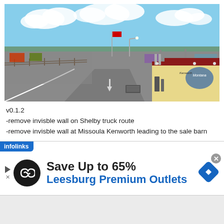[Figure (screenshot): Screenshot from a truck driving video game showing a classic truck parked at an intersection or rest area with road markings, fence, trees, and American flag in background under blue sky with clouds.]
v0.1.2
-remove invisble wall on Shelby truck route
-remove invisble wall at Missoula Kenworth leading to the sale barn
[Figure (screenshot): Infolinks advertisement banner: 'Save Up to 65% Leesburg Premium Outlets' with a black circular logo showing linked chains, a blue diamond arrow icon, and a close button.]